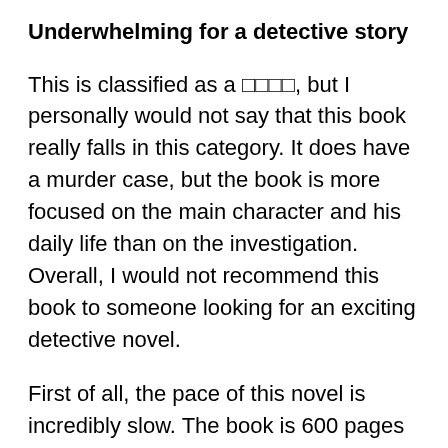Underwhelming for a detective story
This is classified as a 🔲🔲🔲🔲, but I personally would not say that this book really falls in this category. It does have a murder case, but the book is more focused on the main character and his daily life than on the investigation. Overall, I would not recommend this book to someone looking for an exciting detective novel.
First of all, the pace of this novel is incredibly slow. The book is 600 pages long, but it is not because there are a lot of things happening… the same story could be told with 300 pages only.
Similarly to the first novel of the series, 🔲🔲🔲,